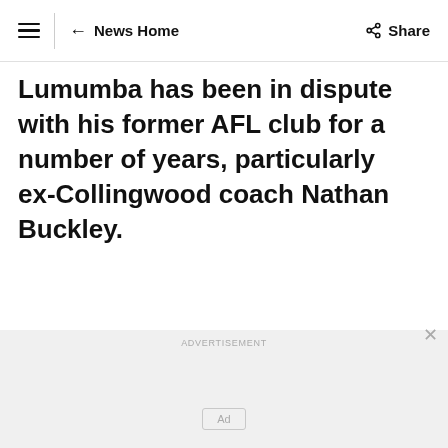≡ ← News Home  Share
Lumumba has been in dispute with his former AFL club for a number of years, particularly ex-Collingwood coach Nathan Buckley.
ADVERTISEMENT
[Figure (other): Advertisement placeholder box labeled 'Ad']
[Figure (other): Advertisement placeholder box labeled 'Ad']